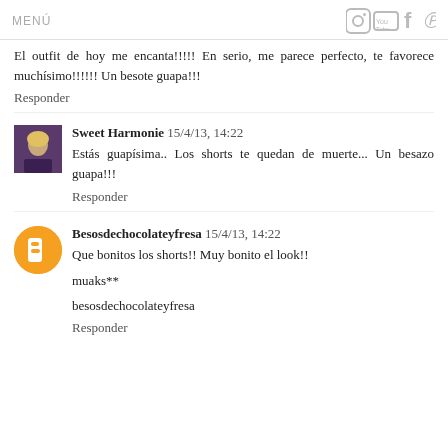MENÚ
El outfit de hoy me encanta!!!!! En serio, me parece perfecto, te favorece muchísimo!!!!!! Un besote guapa!!!
Responder
Sweet Harmonie 15/4/13, 14:22
Estás guapísima.. Los shorts te quedan de muerte... Un besazo guapa!!!
Responder
Besosdechocolateyfresa 15/4/13, 14:22
Que bonitos los shorts!! Muy bonito el look!!
muaks**
besosdechocolateyfresa
Responder